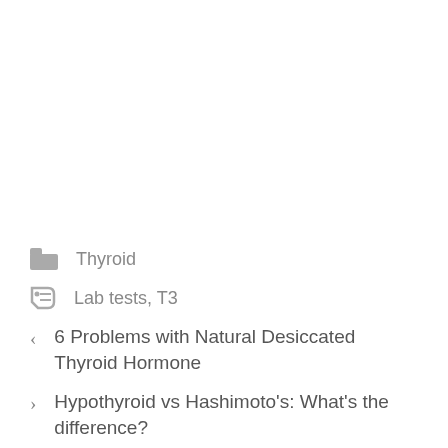Thyroid
Lab tests, T3
6 Problems with Natural Desiccated Thyroid Hormone
Hypothyroid vs Hashimoto's: What's the difference?